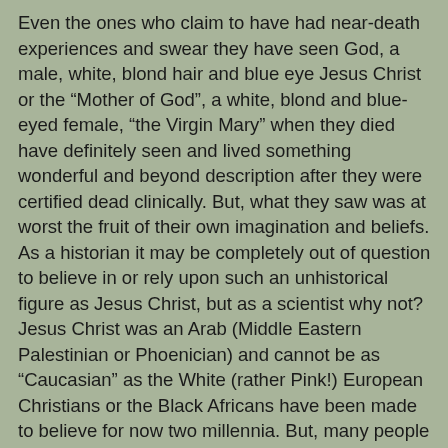Even the ones who claim to have had near-death experiences and swear they have seen God, a male, white, blond hair and blue eye Jesus Christ or the “Mother of God”, a white, blond and blue-eyed female, “the Virgin Mary” when they died have definitely seen and lived something wonderful and beyond description after they were certified dead clinically. But, what they saw was at worst the fruit of their own imagination and beliefs. As a historian it may be completely out of question to believe in or rely upon such an unhistorical figure as Jesus Christ, but as a scientist why not? Jesus Christ was an Arab (Middle Eastern Palestinian or Phoenician) and cannot be as “Caucasian” as the White (rather Pink!) European Christians or the Black Africans have been made to believe for now two millennia. But, many people are sincere and have indeed experienced life after death, and seen and heard incredible things before they returned to their bodies. Although some stories are incredible to believe, like in Betty J. Eadie’s book “EMBRACED BY THE LIGHT” (Thorsons, UK, 1995) in which a woman saw the white Jesus Christ as the God-Creator, as One and at the same time as two separate Beings. One common thing